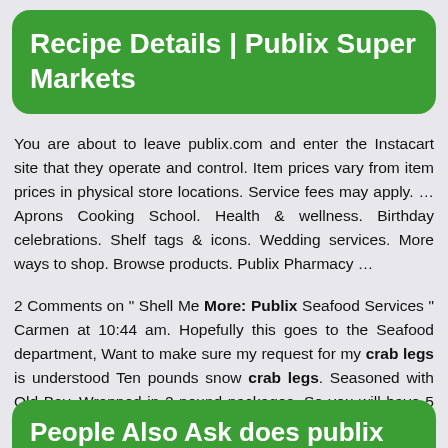Recipe Details | Publix Super Markets
You are about to leave publix.com and enter the Instacart site that they operate and control. Item prices vary from item prices in physical store locations. Service fees may apply. … Aprons Cooking School. Health & wellness. Birthday celebrations. Shelf tags & icons. Wedding services. More ways to shop. Browse products. Publix Pharmacy …
2 Comments on " Shell Me More: Publix Seafood Services " Carmen at 10:44 am. Hopefully this goes to the Seafood department, Want to make sure my request for my crab legs is understood Ten pounds snow crab legs. Seasoned with Old Bay. Wrapped in 2 pound packages. So you will have 5 two pond packages. Start steaming 5pm.
People Also Ask does publix